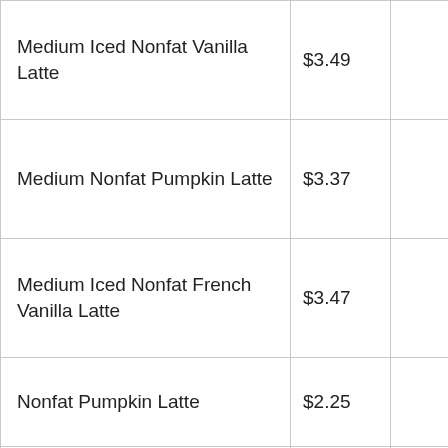| Medium Iced Nonfat Vanilla Latte | $3.49 |  |
| Medium Nonfat Pumpkin Latte | $3.37 |  |
| Medium Iced Nonfat French Vanilla Latte | $3.47 |  |
| Nonfat Pumpkin Latte | $2.25 |  |
| Americano | $2.29 |  |
| Iced Latte | $2.30 |  |
| Medium Cappuccino | $3.33 |  |